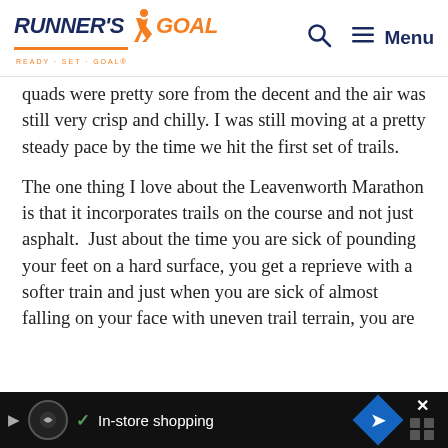RUNNER'S GOAL — READY · SET · GOAL®
quads were pretty sore from the decent and the air was still very crisp and chilly. I was still moving at a pretty steady pace by the time we hit the first set of trails.
The one thing I love about the Leavenworth Marathon is that it incorporates trails on the course and not just asphalt.  Just about the time you are sick of pounding your feet on a hard surface, you get a reprieve with a softer train and just when you are sick of almost falling on your face with uneven trail terrain, you are